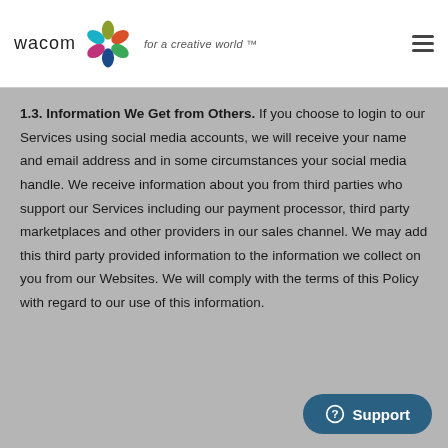wacom for a creative world™
1.3. Information We Get from Others. If you choose to login to our Services using social media accounts, we will receive your name and email address and in some circumstances your social media handle. We receive information about you from third parties who support our Services including our payment processor, third party marketplaces and other providers in our sales channel. We may add this third party provided information to the information we collect on you from our Websites. We will comply with the terms of this Policy with regard to our use of this information.